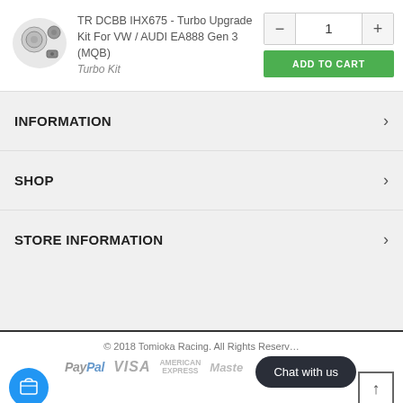[Figure (photo): Product photo of turbo upgrade kit parts (bearings and components)]
TR DCBB IHX675 - Turbo Upgrade Kit For VW / AUDI EA888 Gen 3 (MQB)
Turbo Kit
- 1 +
ADD TO CART
INFORMATION
SHOP
STORE INFORMATION
© 2018 Tomioka Racing. All Rights Reserved.
[Figure (logo): PayPal logo]
[Figure (logo): VISA logo]
[Figure (logo): American Express logo]
[Figure (logo): Mastercard logo]
Chat with us